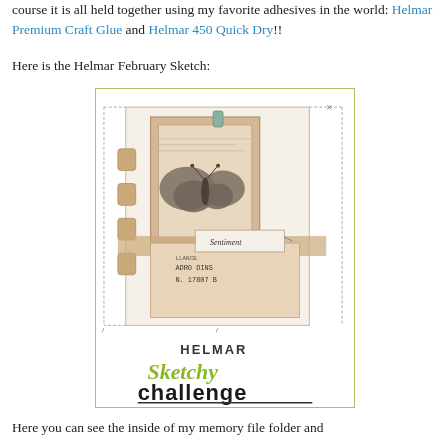course it is all held together using my favorite adhesives in the world: Helmar Premium Craft Glue and Helmar 450 Quick Dry!!
Here is the Helmar February Sketch:
[Figure (illustration): Helmar Sketchy Challenge card design showing a vintage-style scrapbook layout with a butterfly, paper frame, ticket stubs, a sentiment tag, and decorative elements. The Helmar Sketchy Challenge logo appears at the bottom.]
Here you can see the inside of my memory file folder and